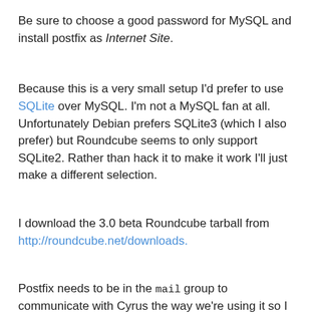Be sure to choose a good password for MySQL and install postfix as Internet Site.
Because this is a very small setup I'd prefer to use SQLite over MySQL. I'm not a MySQL fan at all. Unfortunately Debian prefers SQLite3 (which I also prefer) but Roundcube seems to only support SQLite2. Rather than hack it to make it work I'll just make a different selection.
I download the 3.0 beta Roundcube tarball from http://roundcube.net/downloads.
Postfix needs to be in the mail group to communicate with Cyrus the way we're using it so I add the postfix user to the